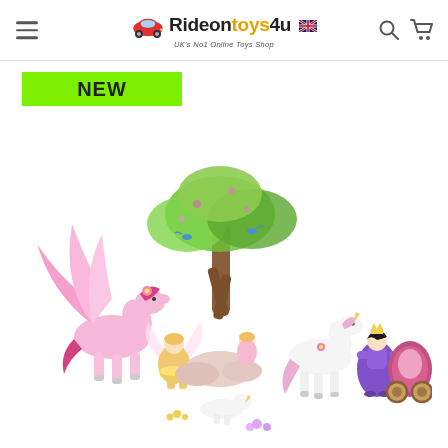Rideontoys4u – UK's No1 Online Toys Shop
NEW
[Figure (photo): Playmobil fantasy fairy tale play set featuring a pink Pegasus with wings, fairy figures, a tree with green leaves, a white unicorn, a princess in a purple dress, and an ornate carriage, all arranged on a white background.]